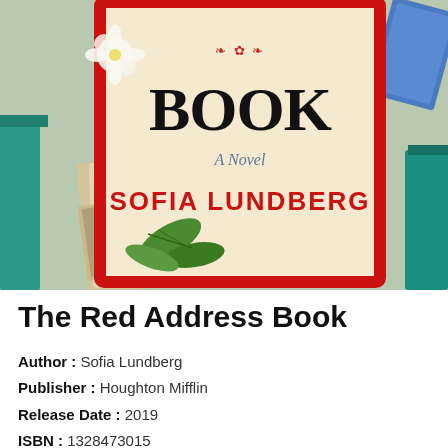[Figure (photo): Book cover of 'The Red Address Book' by Sofia Lundberg. Shows a cream/beige book with red border and the text 'BOOK', 'A Novel', and 'SOFIA LUNDBERG' on the cover. Surrounding the book are flowers, green leaves, old letters, photographs, and a teal ribbon. A handwritten address on paper shows 'A.S. 3 rue Corbu de Paris 1'.]
The Red Address Book
Author : Sofia Lundberg
Publisher : Houghton Mifflin
Release Date : 2019
ISBN : 1328473015